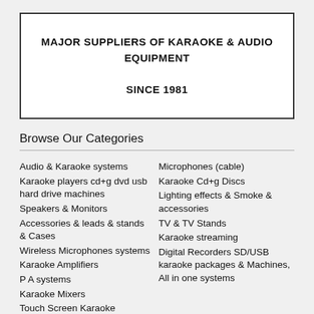MAJOR SUPPLIERS OF KARAOKE & AUDIO EQUIPMENT SINCE 1981
Browse Our Categories
Audio & Karaoke systems
Karaoke players cd+g dvd usb hard drive machines
Speakers & Monitors
Accessories & leads & stands & Cases
Wireless Microphones systems
Karaoke Amplifiers
P A systems
Karaoke Mixers
Touch Screen Karaoke
Microphones (cable)
Karaoke Cd+g Discs
Lighting effects & Smoke & accessories
TV & TV Stands
Karaoke streaming
Digital Recorders SD/USB karaoke packages & Machines, All in one systems